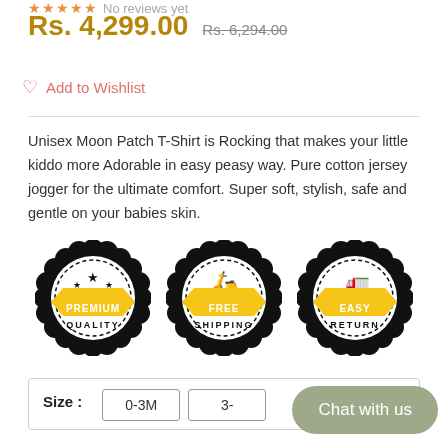No reviews yet
Rs. 4,299.00  Rs. 6,294.00
Add to Wishlist
Unisex Moon Patch T-Shirt is Rocking that makes your little kiddo more Adorable in easy peasy way. Pure cotton jersey jogger for the ultimate comfort. Super soft, stylish, safe and gentle on your babies skin.
[Figure (illustration): Three circular badge icons: Premium Quality (stars icon, yellow ribbon), Free Shipping (scooter icon, yellow ribbon), Easy Return (truck icon, yellow ribbon)]
| Size : |
| --- |
| 0-3M | 3-... |